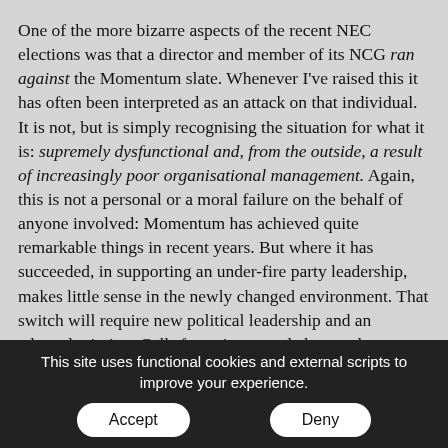One of the more bizarre aspects of the recent NEC elections was that a director and member of its NCG ran against the Momentum slate. Whenever I've raised this it has often been interpreted as an attack on that individual. It is not, but is simply recognising the situation for what it is: supremely dysfunctional and, from the outside, a result of increasingly poor organisational management. Again, this is not a personal or a moral failure on the behalf of anyone involved: Momentum has achieved quite remarkable things in recent years. But where it has succeeded, in supporting an under-fire party leadership, makes little sense in the newly changed environment. That switch will require new political leadership and an adapted mission. Calls for unity – needed more than ever – can't be used to disarm and neuter the now self-evident need for reform. The basic
This site uses functional cookies and external scripts to improve your experience.